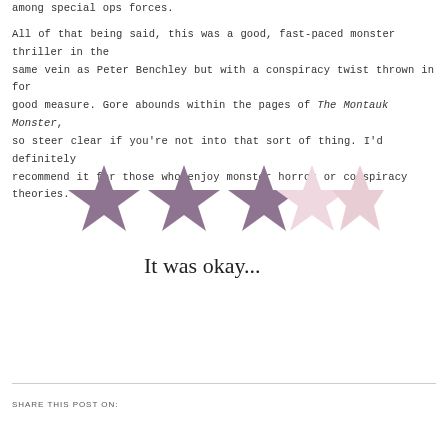among special ops forces.

All of that being said, this was a good, fast-paced monster thriller in the same vein as Peter Benchley but with a conspiracy twist thrown in for good measure. Gore abounds within the pages of The Montauk Monster, so steer clear if you're not into that sort of thing. I'd definitely recommend it for those who enjoy monster horror or conspiracy theories.
[Figure (infographic): 3 filled purple stars and 2 light pink/outline stars rating graphic, with handwritten text below reading 'It was okay...']
SHARE THIS POST ON: